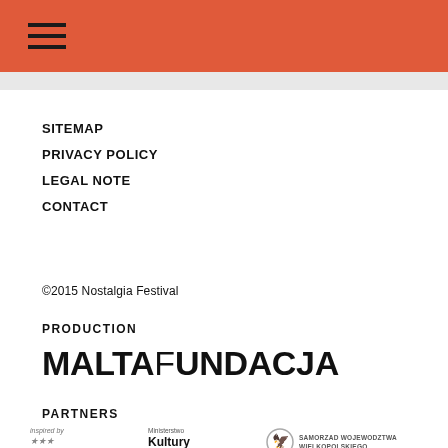[hamburger menu icon]
SITEMAP
PRIVACY POLICY
LEGAL NOTE
CONTACT
©2015 Nostalgia Festival
PRODUCTION
[Figure (logo): MALTA FUNDACJA logo in bold black text]
PARTNERS
[Figure (logo): Three partner logos: Inspired by (EU stars), Ministerstwo Kultury i Dziedzictwa, Samorzad Wojewodztwa]